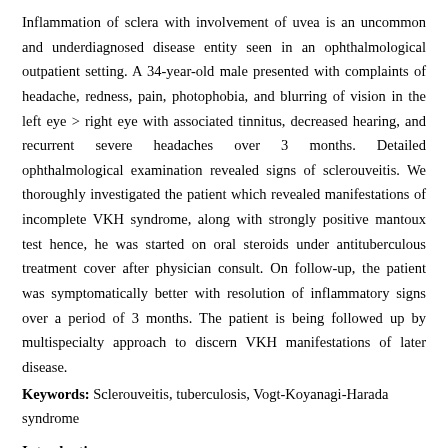Inflammation of sclera with involvement of uvea is an uncommon and underdiagnosed disease entity seen in an ophthalmological outpatient setting. A 34-year-old male presented with complaints of headache, redness, pain, photophobia, and blurring of vision in the left eye > right eye with associated tinnitus, decreased hearing, and recurrent severe headaches over 3 months. Detailed ophthalmological examination revealed signs of sclerouveitis. We thoroughly investigated the patient which revealed manifestations of incomplete VKH syndrome, along with strongly positive mantoux test hence, he was started on oral steroids under antituberculous treatment cover after physician consult. On follow-up, the patient was symptomatically better with resolution of inflammatory signs over a period of 3 months. The patient is being followed up by multispecialty approach to discern VKH manifestations of later disease.
Keywords: Sclerouveitis, tuberculosis, Vogt-Koyanagi-Harada syndrome
Introduction
Tuberculosis (TB) is a severe multisystemic disease affecting mainly the lungs and other organs, including eye. Nearly one-third of the world's population is infected with Mycobacterium tuberculosis.[1] Sclerouveitis is commonly related to underlying systemic disease, including autoimmune, idiopathic, and rarely